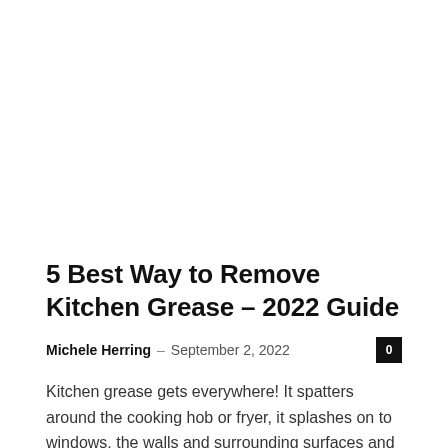[Figure (other): Large white/blank image placeholder area at the top of the page]
5 Best Way to Remove Kitchen Grease – 2022 Guide
Michele Herring – September 2, 2022
Kitchen grease gets everywhere! It spatters around the cooking hob or fryer, it splashes on to windows, the walls and surrounding surfaces and it...